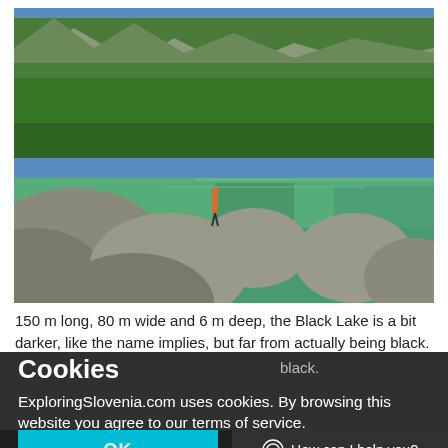[Figure (photo): Scenic mountain lake (Black Lake) with large rocks in the foreground, crystal clear green water, a person standing on rocks in the middle distance, surrounded by forest-covered mountains under a blue sky.]
150 m long, 80 m wide and 6 m deep, the Black Lake is a bit darker, like the name implies, but far from actually being black.
Cookies
ExploringSlovenia.com uses cookies. By browsing this website you agree to our terms of service.
OK
How can I help you?